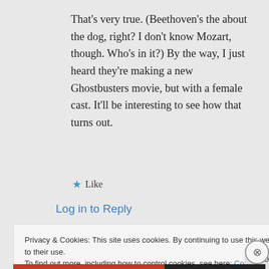That's very true. (Beethoven's the about the dog, right? I don't know Mozart, though. Who's in it?) By the way, I just heard they're making a new Ghostbusters movie, but with a female cast. It'll be interesting to see how that turns out.
★ Like
Log in to Reply
Privacy & Cookies: This site uses cookies. By continuing to use this website, you agree to their use.
To find out more, including how to control cookies, see here: Cookie Policy
Close and accept